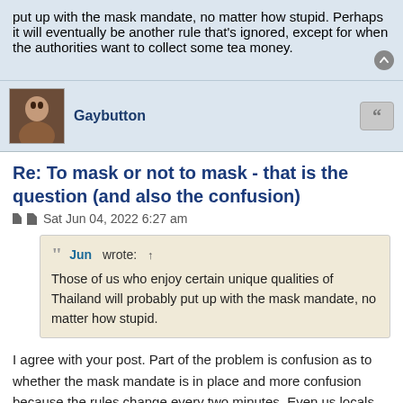put up with the mask mandate, no matter how stupid. Perhaps it will eventually be another rule that's ignored, except for when the authorities want to collect some tea money.
Gaybutton
Re: To mask or not to mask - that is the question (and also the confusion)
Sat Jun 04, 2022 6:27 am
Jun wrote: ↑
Those of us who enjoy certain unique qualities of Thailand will probably put up with the mask mandate, no matter how stupid.
I agree with your post. Part of the problem is confusion as to whether the mask mandate is in place and more confusion because the rules change every two minutes. Even us locals manage to find ourselves confused and unsure about what is going on.
Another factor - suppose the mask mandate ends tomorrow. Consider that most Thais and many local farang have made it clear we are going to continue wearing the masks with or without the mandate. If there is no